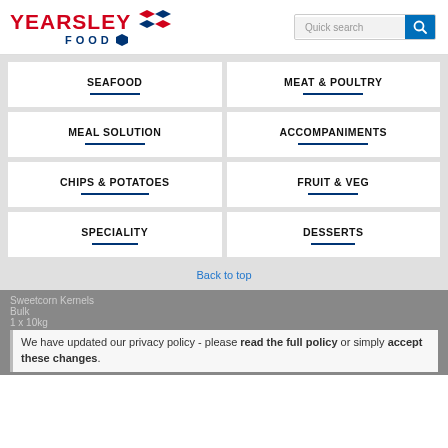[Figure (logo): Yearsley Food logo with red text and blue diamond shapes]
[Figure (screenshot): Quick search input box with blue search button]
SEAFOOD
MEAT & POULTRY
MEAL SOLUTION
ACCOMPANIMENTS
CHIPS & POTATOES
FRUIT & VEG
SPECIALITY
DESSERTS
Back to top
Sweetcorn Kernels
Bulk
1 x 10kg
We have updated our privacy policy - please read the full policy or simply accept these changes.